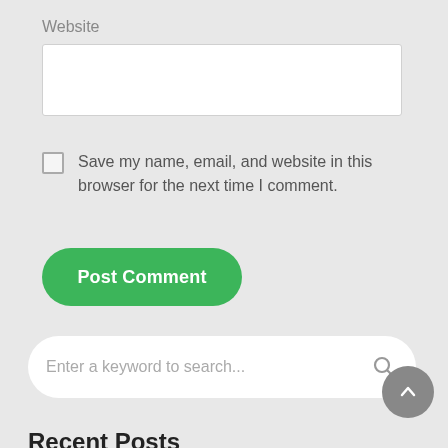Website
[Figure (screenshot): Empty website text input field]
Save my name, email, and website in this browser for the next time I comment.
[Figure (screenshot): Post Comment button, green rounded rectangle]
[Figure (screenshot): Search bar with placeholder text 'Enter a keyword to search...' and magnifying glass icon]
[Figure (screenshot): Back to top circular button with upward chevron]
Recent Posts